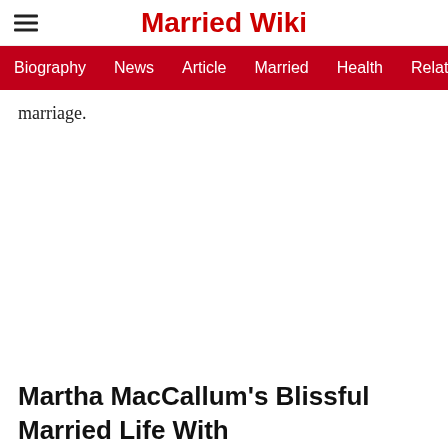Married Wiki
Biography  News  Article  Married  Health  Relationship  Ga
marriage.
Martha MacCallum's Blissful Married Life With